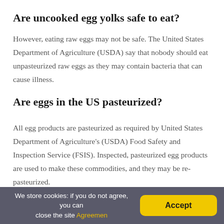Are uncooked egg yolks safe to eat?
However, eating raw eggs may not be safe. The United States Department of Agriculture (USDA) say that nobody should eat unpasteurized raw eggs as they may contain bacteria that can cause illness.
Are eggs in the US pasteurized?
All egg products are pasteurized as required by United States Department of Agriculture's (USDA) Food Safety and Inspection Service (FSIS). Inspected, pasteurized egg products are used to make these commodities, and they may be re- pasteurized.
We store cookies: if you do not agree, you can close the site Agreemen  Accept